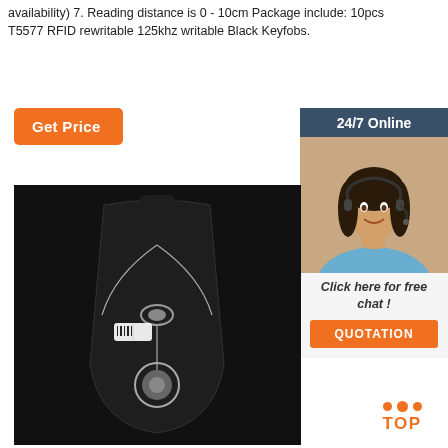availability) 7. Reading distance is 0 - 10cm Package include: 10pcs T5577 RFID rewritable 125khz writable Black Keyfobs.
[Figure (other): Orange 'Get Price' button]
[Figure (photo): Sidebar with dark header '24/7 Online', photo of a woman with headset smiling, text 'Click here for free chat !', and orange 'QUOTATION' button]
[Figure (photo): Product photo: a necklace with decorative pendant displayed on a black jewelry bust stand with a price tag]
[Figure (other): Orange 'TOP' button with dot decoration for scroll-to-top]